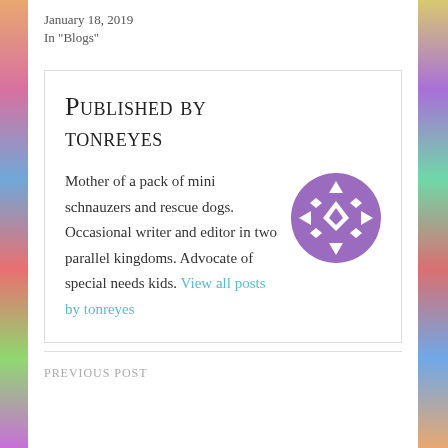January 18, 2019
In "Blogs"
Published by tonreyes
Mother of a pack of mini schnauzers and rescue dogs. Occasional writer and editor in two parallel kingdoms. Advocate of special needs kids. View all posts by tonreyes
[Figure (illustration): Purple geometric snowflake/diamond pattern avatar icon in a circle]
PREVIOUS POST